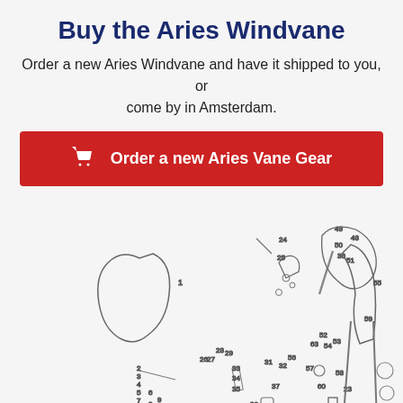Buy the Aries Windvane
Order a new Aries Windvane and have it shipped to you, or come by in Amsterdam.
[Figure (other): Red button with shopping cart icon: Order a new Aries Vane Gear]
[Figure (engineering-diagram): Exploded parts diagram of the Aries Windvane self-steering gear, showing numbered components (1-79) including brackets, clamps, rods, joints, and fittings.]